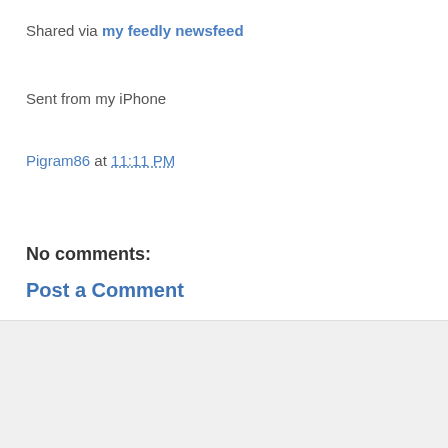Shared via my feedly newsfeed
Sent from my iPhone
Pigram86 at 11:11 PM
Share
No comments:
Post a Comment
< Home > View web version Powered by Blogger.